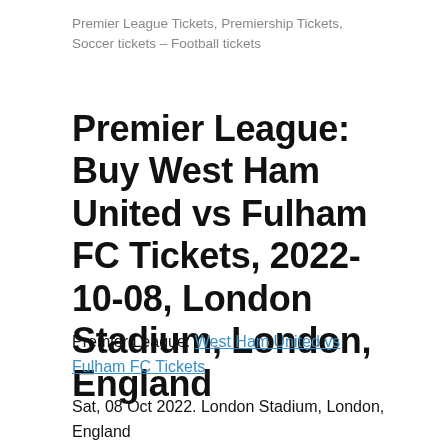Premier League Tickets, Premiership Tickets, Soccer tickets – Football tickets
Premier League: Buy West Ham United vs Fulham FC Tickets, 2022-10-08, London Stadium, London, England
Premier League: West Ham United vs Fulham FC Tickets
Sat, 08 Oct 2022. London Stadium, London, England